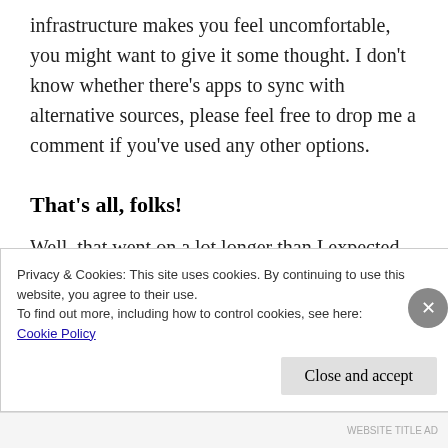infrastructure makes you feel uncomfortable, you might want to give it some thought. I don't know whether there's apps to sync with alternative sources, please feel free to drop me a comment if you've used any other options.
That's all, folks!
Well, that went on a lot longer than I expected. I'll just do a quick review. 5 minute job, I
Privacy & Cookies: This site uses cookies. By continuing to use this website, you agree to their use.
To find out more, including how to control cookies, see here: Cookie Policy
Close and accept
WEBSITE TITLE AD